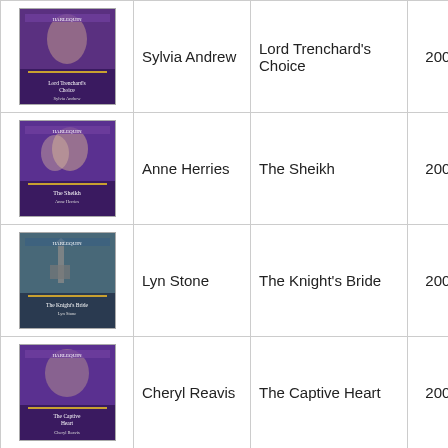| Cover | Author | Title | Year | Month | Code |
| --- | --- | --- | --- | --- | --- |
| [image] | Sylvia Andrew | Lord Trenchard's Choice | 2003 | February | H8 MI |
| [image] | Anne Herries | The Sheikh | 2003 | February | H8 MI |
| [image] | Lyn Stone | The Knight's Bride | 2003 | February | H8 MI |
| [image] | Cheryl Reavis | The Captive Heart | 2003 | February | H8 MI |